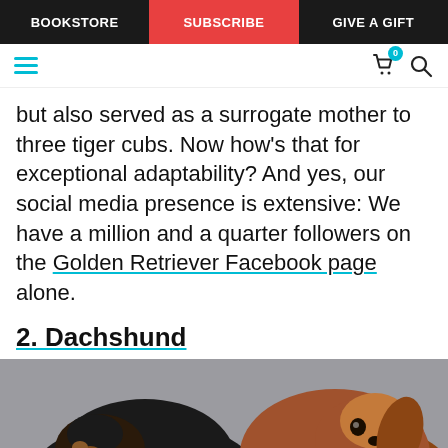BOOKSTORE | SUBSCRIBE | GIVE A GIFT
but also served as a surrogate mother to three tiger cubs. Now how’s that for exceptional adaptability? And yes, our social media presence is extensive: We have a million and a quarter followers on the Golden Retriever Facebook page alone.
2. Dachshund
[Figure (photo): Close-up photo of two dachshund dogs side by side against a grey background. One is black and tan on the left, the other is brown/tan on the right looking toward the camera.]